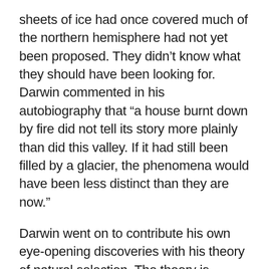sheets of ice had once covered much of the northern hemisphere had not yet been proposed. They didn't know what they should have been looking for. Darwin commented in his autobiography that “a house burnt down by fire did not tell its story more plainly than did this valley. If it had still been filled by a glacier, the phenomena would have been less distinct than they are now.”
Darwin went on to contribute his own eye-opening discoveries with his theory of natural selection. The theory is amazingly simple: 1) Individuals vary; 2) Their differences often have consequences for survival and reproduction; 3) Offspring resemble their parents. Given these three conditions, populations will change over time. Traits that